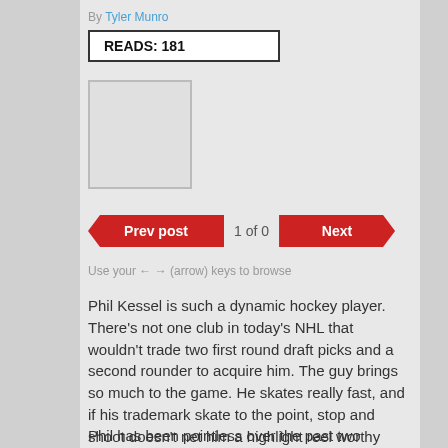By Tyler Munro
READS: 181
[Figure (photo): Empty image placeholder box]
Prev post  1 of 0  Next
Use your ← → (arrow) keys to browse
Phil Kessel is such a dynamic hockey player. There's not one club in today's NHL that wouldn't trade two first round draft picks and a second rounder to acquire him. The guy brings so much to the game. He skates really fast, and if his trademark skate to the point, stop and shoot doesn't net him a highlight reel worthy goal, then you can always rely on him to get gritty in the corners with the best of them...
Phil has been pointless over the past two games, but not last night. No, Phil